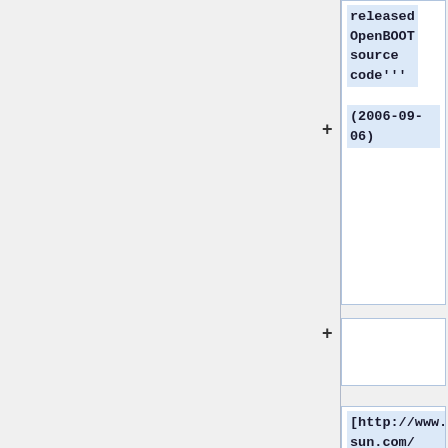released OpenBOOT source code''' (2006-09-06)
[http://www.sun.com/ SUN microsystems] has recently released their OpenBOOT source code to the community under a BSD li...